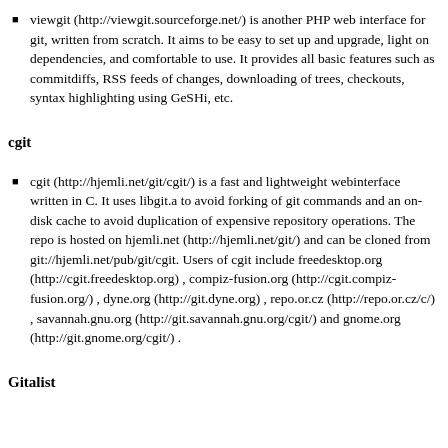viewgit (http://viewgit.sourceforge.net/) is another PHP web interface for git, written from scratch. It aims to be easy to set up and upgrade, light on dependencies, and comfortable to use. It provides all basic features such as commitdiffs, RSS feeds of changes, downloading of trees, checkouts, syntax highlighting using GeSHi, etc.
cgit
cgit (http://hjemli.net/git/cgit/) is a fast and lightweight webinterface written in C. It uses libgit.a to avoid forking of git commands and an on-disk cache to avoid duplication of expensive repository operations. The repo is hosted on hjemli.net (http://hjemli.net/git/) and can be cloned from git://hjemli.net/pub/git/cgit. Users of cgit include freedesktop.org (http://cgit.freedesktop.org) , compiz-fusion.org (http://cgit.compiz-fusion.org/) , dyne.org (http://git.dyne.org) , repo.or.cz (http://repo.or.cz/c/) , savannah.gnu.org (http://git.savannah.gnu.org/cgit/) and gnome.org (http://git.gnome.org/cgit/) .
Gitalist